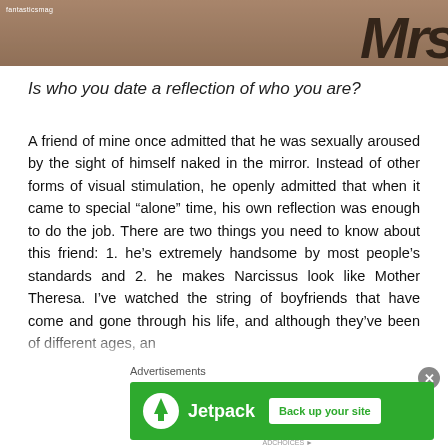[Figure (photo): Top portion of a person's body with tattoo letters visible, dark skin tones, with site watermark 'fantasticsmag']
Is who you date a reflection of who you are?
A friend of mine once admitted that he was sexually aroused by the sight of himself naked in the mirror. Instead of other forms of visual stimulation, he openly admitted that when it came to special “alone” time, his own reflection was enough to do the job. There are two things you need to know about this friend: 1. he’s extremely handsome by most people’s standards and 2. he makes Narcissus look like Mother Theresa. I’ve watched the string of boyfriends that have come and gone through his life, and although they’ve been of different ages, an
Advertisements
[Figure (screenshot): Jetpack advertisement banner with green background, Jetpack logo and lightning bolt icon on left, white 'Back up your site' button on right]